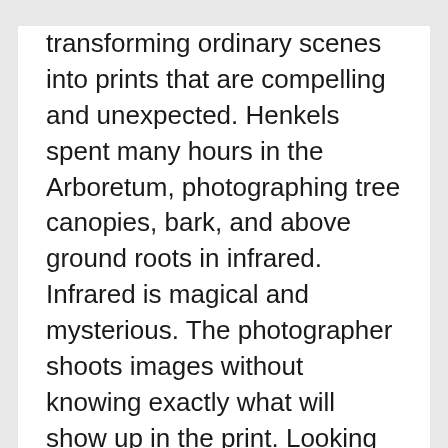transforming ordinary scenes into prints that are compelling and unexpected. Henkels spent many hours in the Arboretum, photographing tree canopies, bark, and above ground roots in infrared. Infrared is magical and mysterious. The photographer shoots images without knowing exactly what will show up in the print. Looking through the viewfinder of an…
Art Workshop: Revealing the Wild Print
Location: Hunnewell Building, Arnold Arboretum, 125 Arborway, Boston